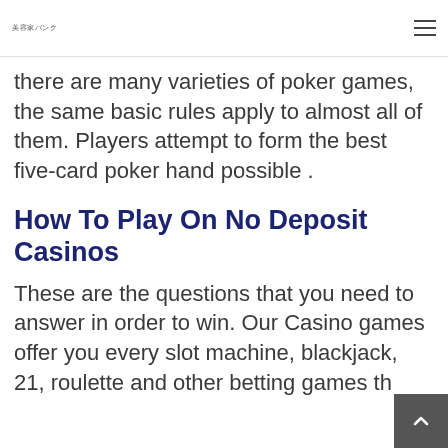美容家バンク
there are many varieties of poker games, the same basic rules apply to almost all of them. Players attempt to form the best five-card poker hand possible .
How To Play On No Deposit Casinos
These are the questions that you need to answer in order to win. Our Casino games offer you every slot machine, blackjack, 21, roulette and other betting games th…